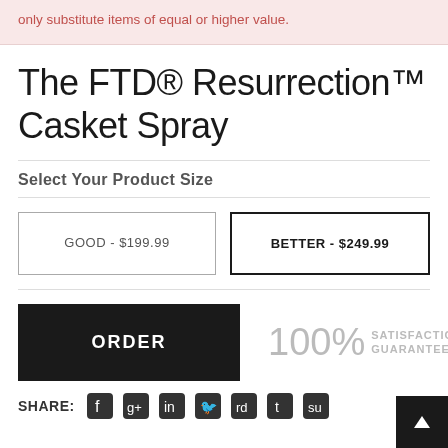only substitute items of equal or higher value.
The FTD® Resurrection™ Casket Spray
Select Your Product Size
GOOD - $199.99
BETTER - $249.99
ORDER
100% SATISFACTION GUARANTEE
SHARE: